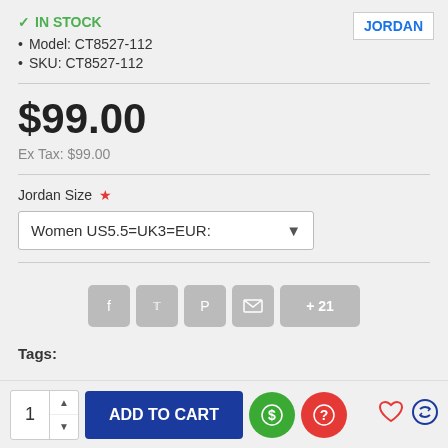✓ IN STOCK
JORDAN
Model: CT8527-112
SKU: CT8527-112
$99.00
Ex Tax: $99.00
Jordan Size *
Women US5.5=UK3=EUR: ▾
[Figure (infographic): Social share buttons: Facebook, Twitter, Pinterest, Email, +21 more]
Tags:
1  ADD TO CART  [dollar icon]  [question icon]  [heart]  [compare]